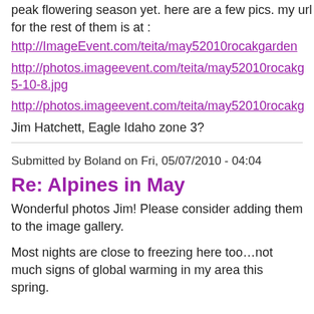peak flowering season yet. here are a few pics. my url for the rest of them is at :
http://ImageEvent.com/teita/may52010rocakgarden
http://photos.imageevent.com/teita/may52010rocakgarden/5-10-8.jpg
http://photos.imageevent.com/teita/may52010rocakgarden
Jim Hatchett, Eagle Idaho zone 3?
Submitted by Boland on Fri, 05/07/2010 - 04:04
Re: Alpines in May
Wonderful photos Jim!  Please consider adding them to the image gallery.
Most nights are close to freezing here too...not much signs of global warming in my area this spring.